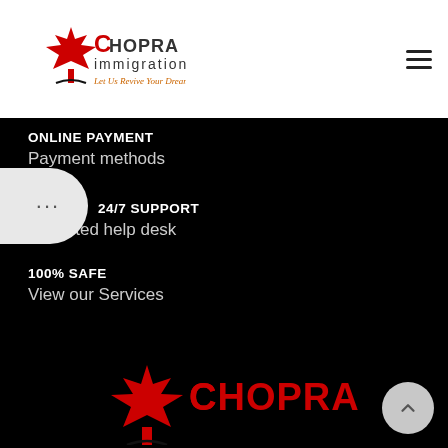[Figure (logo): Chopra Immigration logo with red maple leaf and text 'Let Us Revive Your Dreams']
[Figure (illustration): Hamburger menu icon (three horizontal lines)]
ONLINE PAYMENT
Payment methods
[Figure (illustration): Chat bubble widget with ellipsis dots]
24/7 SUPPORT
Unlimited help desk
100% SAFE
View our Services
[Figure (logo): Chopra Immigration logo (red maple leaf and red Chopra text) in footer]
[Figure (illustration): Back to top arrow button (circular, light grey)]